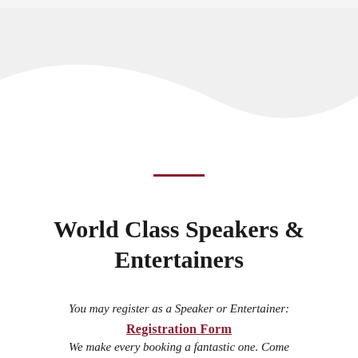[Figure (illustration): Diagonal white swoosh/wave design element on a light grey background at the top of the page]
World Class Speakers & Entertainers
You may register as a Speaker or Entertainer:
Registration Form
We make every booking a fantastic one. Come